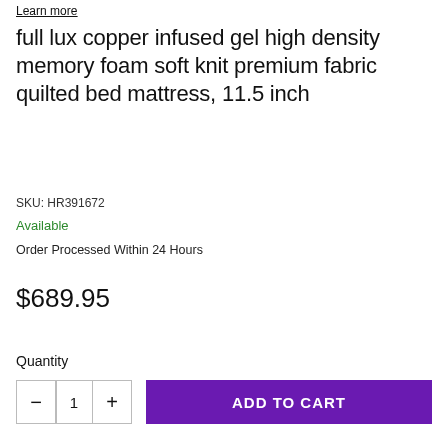Learn more
full lux copper infused gel high density memory foam soft knit premium fabric quilted bed mattress, 11.5 inch
SKU: HR391672
Available
Order Processed Within 24 Hours
$689.95
Quantity
− 1 + ADD TO CART